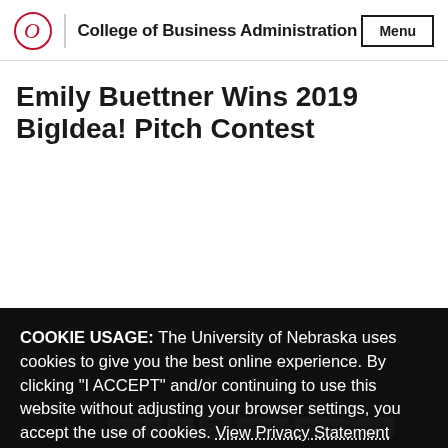College of Business Administration | Menu
Emily Buettner Wins 2019 BigIdea! Pitch Contest
The BigIdea! Contest is sponsored by CBA's Center for Innovation, Entrepreneurship, and Franchising, and allows students to present their startup ideas and receive funding.
Published 2019...
contact: Connor Berg, Center for Innovation, Entrepreneurship, and...
email: cberg@unomaha.edu
COOKIE USAGE: The University of Nebraska uses cookies to give you the best online experience. By clicking "I ACCEPT" and/or continuing to use this website without adjusting your browser settings, you accept the use of cookies. View Privacy Statement
search keywords: bigidea | oi | contest | entrepreneurship